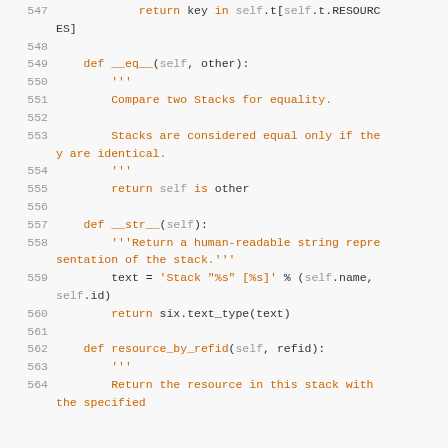[Figure (screenshot): Python source code snippet showing lines 547-564 with syntax highlighting. Line numbers in grey on left, keywords in orange, docstrings in orange, self/id references in grey.]